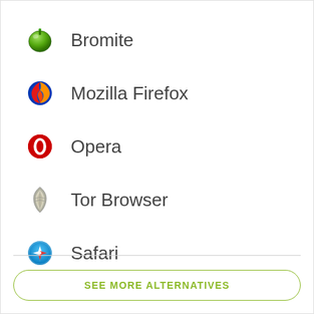Bromite
Mozilla Firefox
Opera
Tor Browser
Safari
SEE MORE ALTERNATIVES